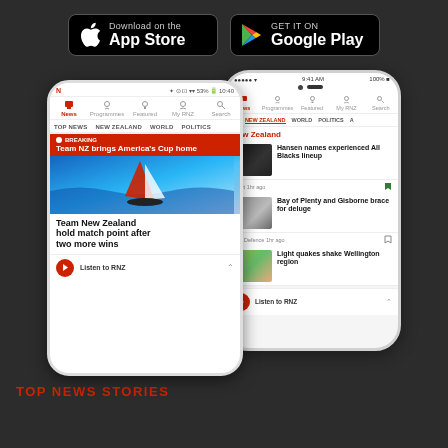[Figure (screenshot): App Store and Google Play download buttons on dark background]
[Figure (screenshot): Two smartphone screens showing the RNZ app - Android phone showing breaking news 'Team NZ brings America's Cup home' and 'Team New Zealand hold match point after two more wins'; iPhone showing New Zealand news section with All Blacks, Bay of Plenty flood, and Wellington earthquake stories]
TOP NEWS STORIES